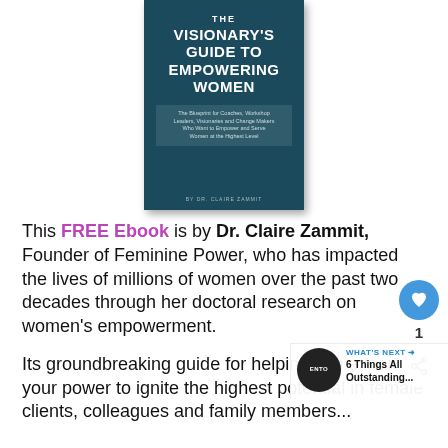[Figure (illustration): Book cover of 'The Visionary's Guide to Empowering Women' by Dr. Claire Zammit, with teal/dark blue background and white text]
This FREE Ebook is by Dr. Claire Zammit, Founder of Feminine Power, who has impacted the lives of millions of women over the past two decades through her doctoral research on women's empowerment.
Its groundbreaking guide for helping you expand your power to ignite the highest potential in female clients, colleagues and family members...